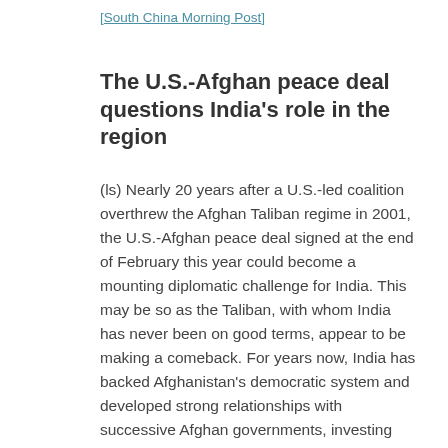[South China Morning Post]
The U.S.-Afghan peace deal questions India's role in the region
(ls) Nearly 20 years after a U.S.-led coalition overthrew the Afghan Taliban regime in 2001, the U.S.-Afghan peace deal signed at the end of February this year could become a mounting diplomatic challenge for India. This may be so as the Taliban, with whom India has never been on good terms, appear to be making a comeback. For years now, India has backed Afghanistan's democratic system and developed strong relationships with successive Afghan governments, investing heavily in the country's development and infrastructure. Much of India's Afghan outreach such as developmental aid or people to people contact, however, relied on the security cover provided by the US and its allies. Now, the country will need to find its